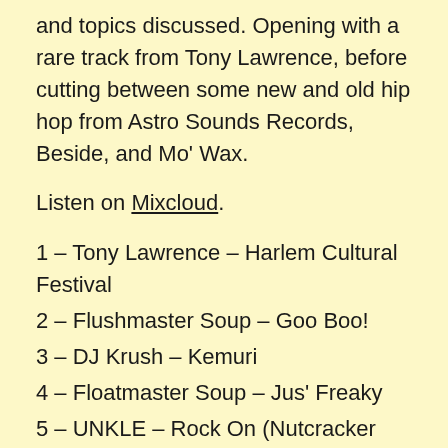and topics discussed. Opening with a rare track from Tony Lawrence, before cutting between some new and old hip hop from Astro Sounds Records, Beside, and Mo' Wax.
Listen on Mixcloud.
1 – Tony Lawrence – Harlem Cultural Festival
2 – Flushmaster Soup – Goo Boo!
3 – DJ Krush – Kemuri
4 – Floatmaster Soup – Jus' Freaky
5 – UNKLE – Rock On (Nutcracker Mix)
6 – Afrika Bambaataa – Wildstyle
7 – Donut Productions – Rackus Amongus